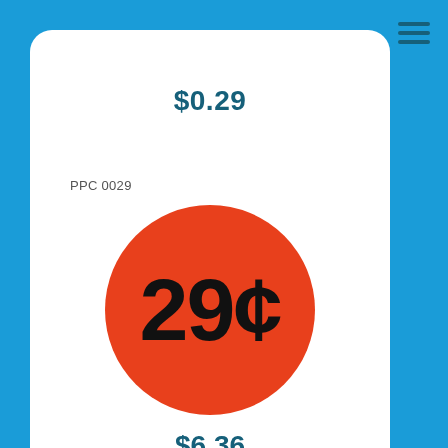$0.29
PPC 0029
[Figure (illustration): Orange circle with '29¢' in large bold black text on a white card background]
$6.36
ADD TO CART